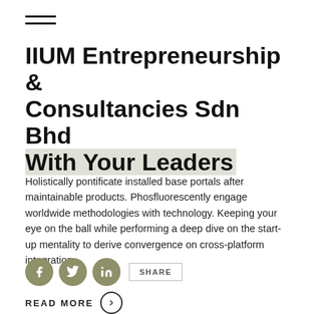[Figure (other): Hamburger menu icon (three horizontal lines)]
IIUM Entrepreneurship & Consultancies Sdn Bhd With Your Leaders
Holistically pontificate installed base portals after maintainable products. Phosfluorescently engage worldwide methodologies with technology. Keeping your eye on the ball while performing a deep dive on the start-up mentality to derive convergence on cross-platform integration.
[Figure (other): Social share icons: Facebook, Twitter, LinkedIn circles and SHARE button]
READ MORE